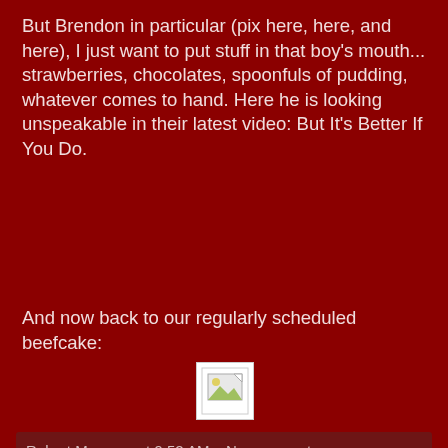But Brendon in particular (pix here, here, and here), I just want to put stuff in that boy's mouth... strawberries, chocolates, spoonfuls of pudding, whatever comes to hand. Here he is looking unspeakable in their latest video: But It's Better If You Do.
And now back to our regularly scheduled beefcake:
[Figure (photo): A small broken/placeholder image icon showing a landscape thumbnail]
Robert Manners at 9:52 AM   No comments:
Share
Thursday, June 22, 2006
Do They Make a Pill for This?
It will come as no surprise to you, my faithful longtime readers, that I occasionally go a little bit overboard with the